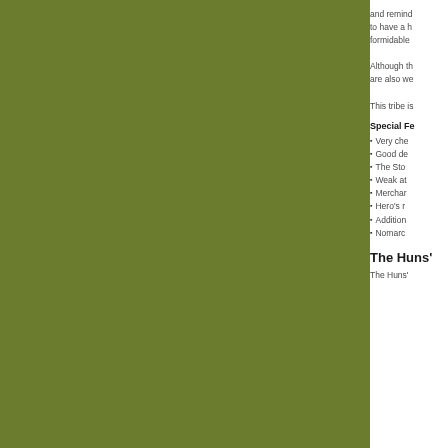and remind to have a h formidable
Although th are also we
This tribe is
Special Fe
Very che
Good de
The Sto
Weak at
Merchar
Hero's r
Addition
Nomarc
The Huns'
The Huns'